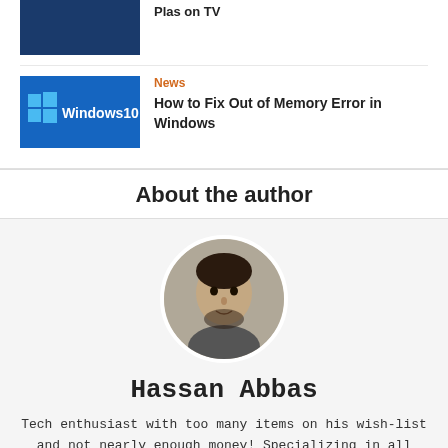[Figure (photo): Dark blue thumbnail image (partially visible at top)]
[Figure (photo): Windows 10 logo on blue background thumbnail]
News
How to Fix Out of Memory Error in Windows
About the author
[Figure (photo): Circular profile photo of Hassan Abbas]
Hassan Abbas
Tech enthusiast with too many items on his wish-list and not nearly enough money! Specializing in all things tech, with a slight Apple bent he has been writing for various blogs for the best part of (too many) years